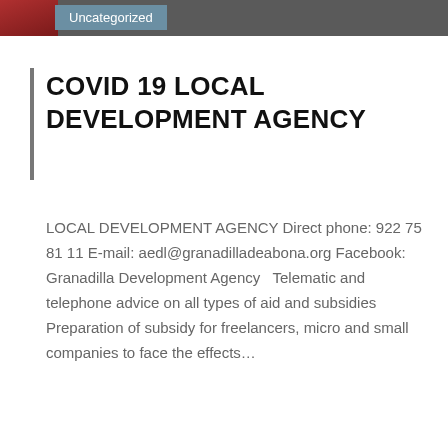Uncategorized
COVID 19 LOCAL DEVELOPMENT AGENCY
LOCAL DEVELOPMENT AGENCY Direct phone: 922 75 81 11 E-mail: aedl@granadilladeabona.org Facebook: Granadilla Development Agency   Telematic and telephone advice on all types of aid and subsidies Preparation of subsidy for freelancers, micro and small companies to face the effects…
No Comments
[Figure (illustration): Colorful illustrated banner at the bottom of the page]